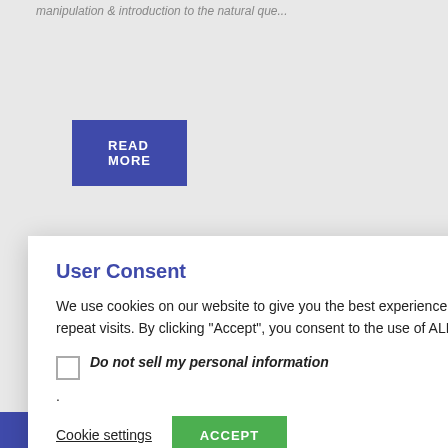manipulation & introduction to the natural que...
READ MORE
VTH WITH
& Choose
NS
User Consent
We use cookies on our website to give you the best experience by remembering your preferences and repeat visits. By clicking “Accept”, you consent to the use of ALL cookies.
Do not sell my personal information
.
Cookie settings
ACCEPT
English